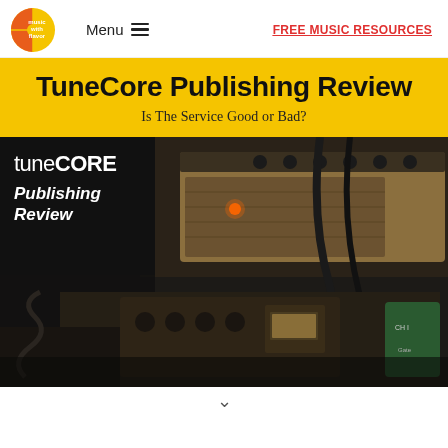music with flavor | Menu | FREE MUSIC RESOURCES
TuneCore Publishing Review
Is The Service Good or Bad?
[Figure (photo): Photo of music studio equipment including guitar amplifiers, audio interface, effects pedals and cables, with a TuneCore Publishing Review overlay label in the top-left corner on a black background.]